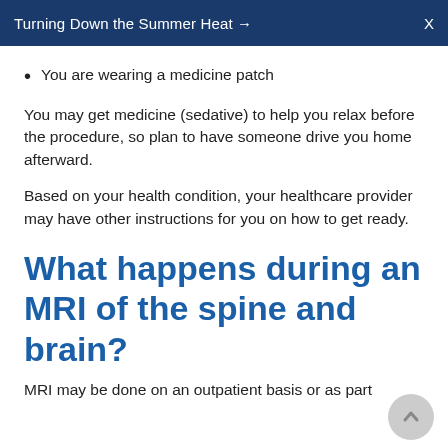Turning Down the Summer Heat →   X
You are wearing a medicine patch
You may get medicine (sedative) to help you relax before the procedure, so plan to have someone drive you home afterward.
Based on your health condition, your healthcare provider may have other instructions for you on how to get ready.
What happens during an MRI of the spine and brain?
MRI may be done on an outpatient basis or as part